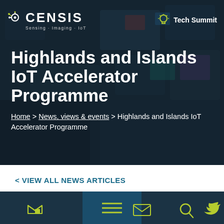[Figure (screenshot): CENSIS website hero banner with dark blurred background showing screens, featuring the CENSIS logo (Sensing · Imaging · IoT) and Tech Summit badge in the header]
Highlands and Islands IoT Accelerator Programme
Home > News, views & events > Highlands and Islands IoT Accelerator Programme
< VIEW ALL NEWS ARTICLES
[Figure (screenshot): Bottom mobile navigation bar with home, email, hamburger menu (highlighted in teal raised button), search, and Twitter icons in yellow-green on dark teal background]